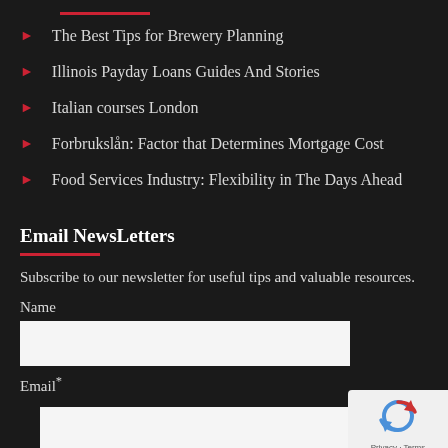The Best Tips for Brewery Planning
Illinois Payday Loans Guides And Stories
Italian courses London
Forbrukslån: Factor that Determines Mortgage Cost
Food Services Industry: Flexibility in The Days Ahead
Email NewsLetters
Subscribe to our newsletter for useful tips and valuable resources.
Name
Email*